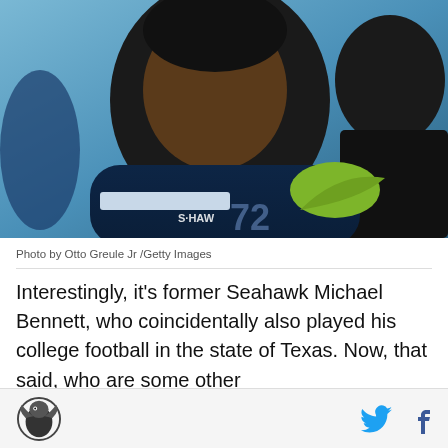[Figure (photo): Photo of Michael Bennett, a Seattle Seahawks NFL player wearing a navy blue jersey with number 72/73 and a green Nike swoosh, with another player partially visible in the background. Blue background.]
Photo by Otto Greule Jr /Getty Images
Interestingly, it's former Seahawk Michael Bennett, who coincidentally also played his college football in the state of Texas. Now, that said, who are some other
SB Nation logo, Twitter icon, Facebook icon